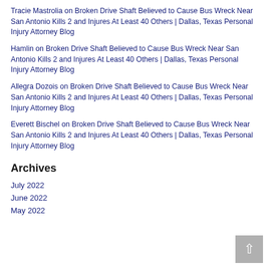Tracie Mastrolia on Broken Drive Shaft Believed to Cause Bus Wreck Near San Antonio Kills 2 and Injures At Least 40 Others | Dallas, Texas Personal Injury Attorney Blog
Hamlin on Broken Drive Shaft Believed to Cause Bus Wreck Near San Antonio Kills 2 and Injures At Least 40 Others | Dallas, Texas Personal Injury Attorney Blog
Allegra Dozois on Broken Drive Shaft Believed to Cause Bus Wreck Near San Antonio Kills 2 and Injures At Least 40 Others | Dallas, Texas Personal Injury Attorney Blog
Everett Bischel on Broken Drive Shaft Believed to Cause Bus Wreck Near San Antonio Kills 2 and Injures At Least 40 Others | Dallas, Texas Personal Injury Attorney Blog
Archives
July 2022
June 2022
May 2022